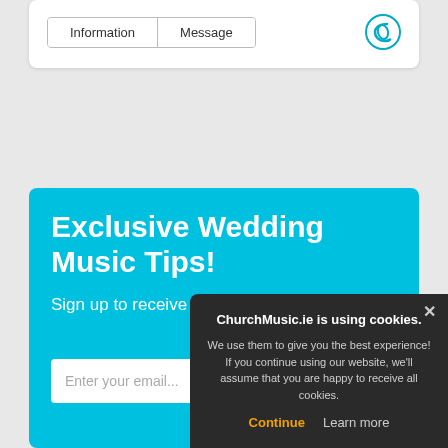[Figure (screenshot): Tab buttons: Information | Message, with a teal C logo icon on the right]
Exclusive Wedding Music Tips!
Sign up to receive our expert wedding music tips!
Enter your email...
ChurchMusic.ie is using cookies. We use them to give you the best experience! If you continue using our website, we'll assume that you are happy to receive all cookies. Continue  Learn more